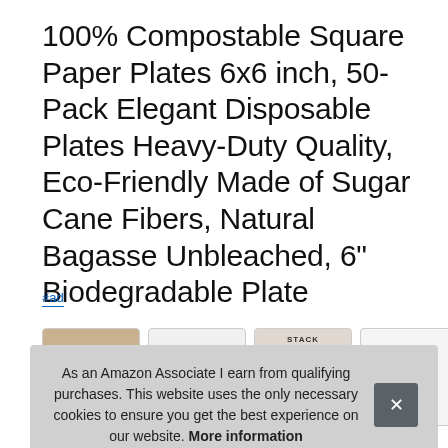100% Compostable Square Paper Plates 6x6 inch, 50-Pack Elegant Disposable Plates Heavy-Duty Quality, Eco-Friendly Made of Sugar Cane Fibers, Natural Bagasse Unbleached, 6" Biodegradable Plate
#ad
[Figure (screenshot): Four product thumbnail images in rounded-corner boxes showing the paper plates product from different angles]
As an Amazon Associate I earn from qualifying purchases. This website uses the only necessary cookies to ensure you get the best experience on our website. More information
Stock: This product is currently $6,499 - $6,868